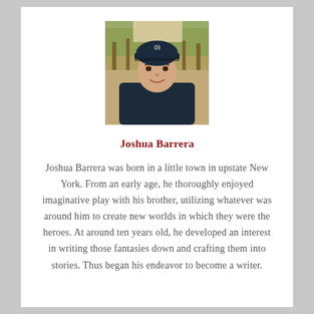[Figure (photo): Headshot photo of a young man wearing a dark blue Under Armour baseball cap and a dark hoodie, smiling slightly, with trees in the background.]
Joshua Barrera
Joshua Barrera was born in a little town in upstate New York. From an early age, he thoroughly enjoyed imaginative play with his brother, utilizing whatever was around him to create new worlds in which they were the heroes. At around ten years old, he developed an interest in writing those fantasies down and crafting them into stories. Thus began his endeavor to become a writer.